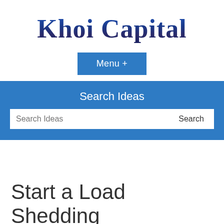Khoi Capital
Menu +
Search Ideas
Search Ideas
Search
Start a Load Shedding Solutions Business